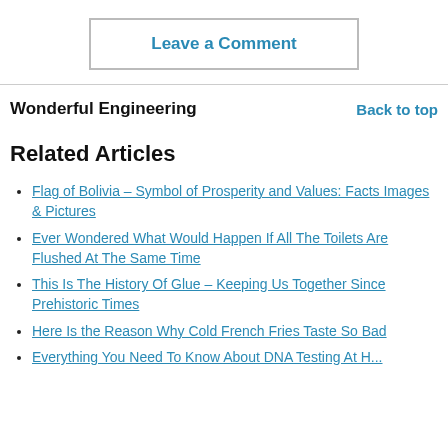Leave a Comment
Wonderful Engineering
Back to top
Related Articles
Flag of Bolivia – Symbol of Prosperity and Values: Facts Images & Pictures
Ever Wondered What Would Happen If All The Toilets Are Flushed At The Same Time
This Is The History Of Glue – Keeping Us Together Since Prehistoric Times
Here Is the Reason Why Cold French Fries Taste So Bad
Everything You Need To Know About DNA Testing At Home